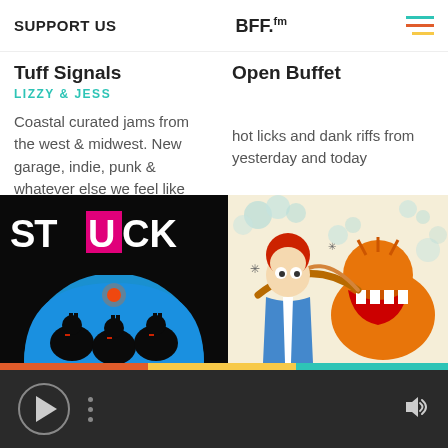SUPPORT US | BFF.fm
Tuff Signals
LIZZY & JESS
Coastal curated jams from the west & midwest. New garage, indie, punk & whatever else we feel like throwin' down.
Open Buffet
hot licks and dank riffs from yesterday and today
[Figure (illustration): STUCK album art — black background with blue arch, three black rabbit-suited figures, bold white and magenta STUCK text]
[Figure (illustration): Cartoon illustration of Garfield-like orange cat with large open mouth, a person with red hair, and cloud/smoke effects on cream background]